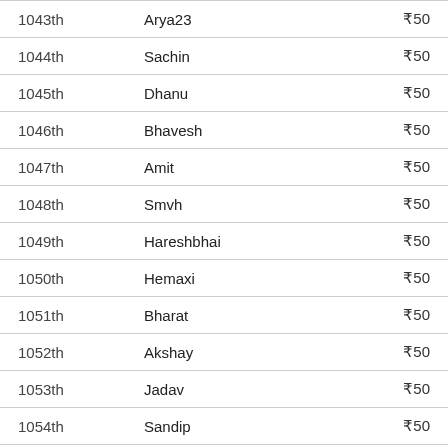| Rank | Name | Amount |
| --- | --- | --- |
| 1043th | Arya23 | ₹50 |
| 1044th | Sachin | ₹50 |
| 1045th | Dhanu | ₹50 |
| 1046th | Bhavesh | ₹50 |
| 1047th | Amit | ₹50 |
| 1048th | Smvh | ₹50 |
| 1049th | Hareshbhai | ₹50 |
| 1050th | Hemaxi | ₹50 |
| 1051th | Bharat | ₹50 |
| 1052th | Akshay | ₹50 |
| 1053th | Jadav | ₹50 |
| 1054th | Sandip | ₹50 |